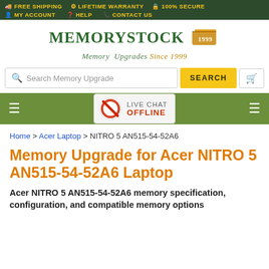FREE SHIPPING  LIFETIME WARRANTY  100% SECURE  MY ACCOUNT  HELP  CONTACT US
[Figure (logo): MemoryStock logo with text 'Memory Upgrades Since 1999']
Search Memory Upgrade  SEARCH
[Figure (infographic): Green navigation bar with hamburger menus and Live Chat OFFLINE popup]
Home > Acer Laptop > NITRO 5 AN515-54-52A6
Memory Upgrade for Acer NITRO 5 AN515-54-52A6 Laptop
Acer NITRO 5 AN515-54-52A6 memory specification, configuration, and compatible memory options